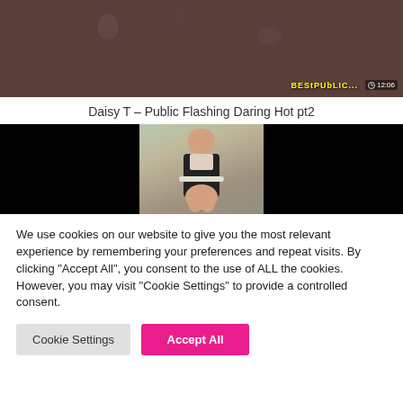[Figure (screenshot): Video thumbnail showing a person in a floral background, with duration 12:06 and site watermark BestPublicFlashing]
Daisy T – Public Flashing Daring Hot pt2
[Figure (screenshot): Video player screenshot with black side panels and a center thumbnail showing a person]
We use cookies on our website to give you the most relevant experience by remembering your preferences and repeat visits. By clicking "Accept All", you consent to the use of ALL the cookies. However, you may visit "Cookie Settings" to provide a controlled consent.
Cookie Settings | Accept All